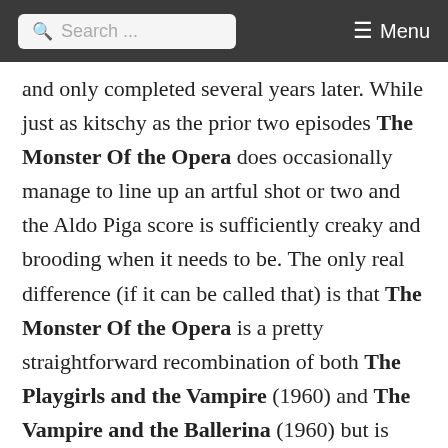Search ... Menu
and only completed several years later. While just as kitschy as the prior two episodes The Monster Of the Opera does occasionally manage to line up an artful shot or two and the Aldo Piga score is sufficiently creaky and brooding when it needs to be. The only real difference (if it can be called that) is that The Monster Of the Opera is a pretty straightforward recombination of both The Playgirls and the Vampire (1960) and The Vampire and the Ballerina (1960) but is enlivened with a light sprinkling of surface elements borrowed from the 1909 Gaston Leroux novel The Phantom of the Opera. It's not exactly the second coming of The Slaughter Of the Vampires (1962), but there's something resembling a pulse, at least.